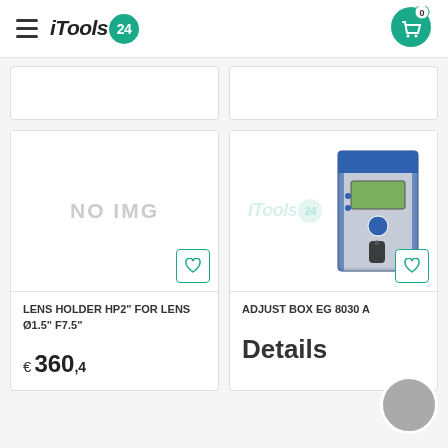iTools 24
[Figure (photo): Product card 1 (partial, cut off at top)]
[Figure (photo): Product card 2 (partial, cut off at top)]
[Figure (photo): Product card: LENS HOLDER HP2 FOR LENS - NO IMG placeholder]
[Figure (photo): Product card: ADJUST BOX EG 8030 A - photo of blue electronic device]
LENS HOLDER HP2" FOR LENS Ø1.5" F7.5"
ADJUST BOX EG 8030 A
€ 360,4
Details